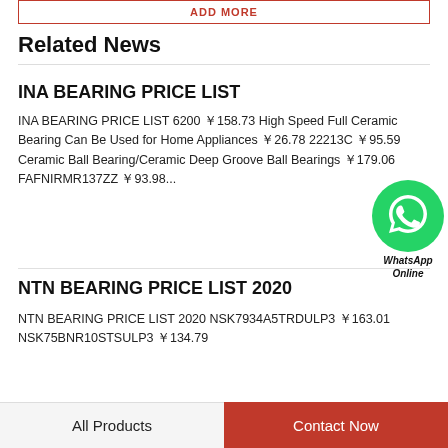Related News
INA BEARING PRICE LIST
INA BEARING PRICE LIST 6200 ￥158.73 High Speed Full Ceramic Bearing Can Be Used for Home Appliances ￥26.78 22213C ￥95.59 Ceramic Ball Bearing/Ceramic Deep Groove Ball Bearings ￥179.06 FAFNIRMR137ZZ ￥93.98...
[Figure (logo): WhatsApp Online green circle button with phone icon and text 'WhatsApp Online']
NTN BEARING PRICE LIST 2020
NTN BEARING PRICE LIST 2020 NSK7934A5TRDULP3 ￥163.01 NSK75BNR10STSULP3 ￥134.79
All Products    Contact Now